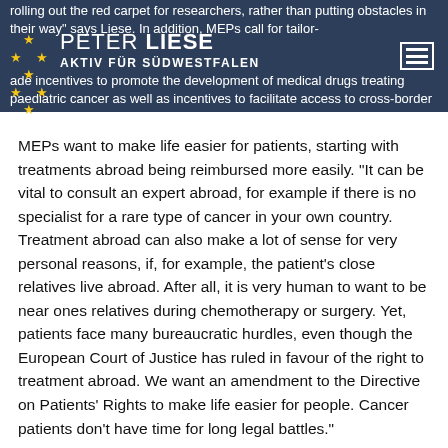PETER LIESE / AKTIV FÜR SÜDWESTFALEN
rolling out the red carpet for researchers, rather than putting obstacles in their way" says Liese. In addition, MEPs call for tailor-made incentives to promote the development of medical drugs treating paediatric cancer as well as incentives to facilitate access to cross-border clinical trials," says Liese, who himself worked as a doctor in a paediatric clinic.
MEPs want to make life easier for patients, starting with treatments abroad being reimbursed more easily. "It can be vital to consult an expert abroad, for example if there is no specialist for a rare type of cancer in your own country. Treatment abroad can also make a lot of sense for very personal reasons, if, for example, the patient's close relatives live abroad. After all, it is very human to want to be near ones relatives during chemotherapy or surgery. Yet, patients face many bureaucratic hurdles, even though the European Court of Justice has ruled in favour of the right to treatment abroad. We want an amendment to the Directive on Patients' Rights to make life easier for people. Cancer patients don't have time for long legal battles."